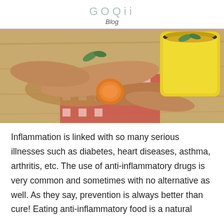GOQii
Blog
[Figure (photo): Photo of fresh ginger root and turmeric root pieces on a wooden board with a yellow mug of golden turmeric tea, garnished with mint leaves, on a red checkered cloth]
Inflammation is linked with so many serious illnesses such as diabetes, heart diseases, asthma, arthritis, etc. The use of anti-inflammatory drugs is very common and sometimes with no alternative as well. As they say, prevention is always better than cure! Eating anti-inflammatory food is a natural